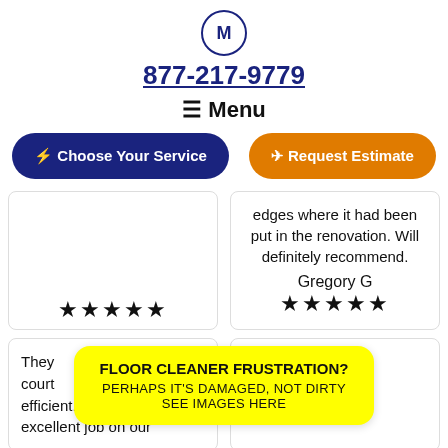[Figure (logo): M logo badge in a circle]
877-217-9779
≡ Menu
⚡ Choose Your Service
✈ Request Estimate
★★★★★
edges where it had been put in the renovation. Will definitely recommend.
Gregory G
★★★★★
They court efficient. excellent job on our
FLOOR CLEANER FRUSTRATION?
PERHAPS IT'S DAMAGED, NOT DIRTY
SEE IMAGES HERE